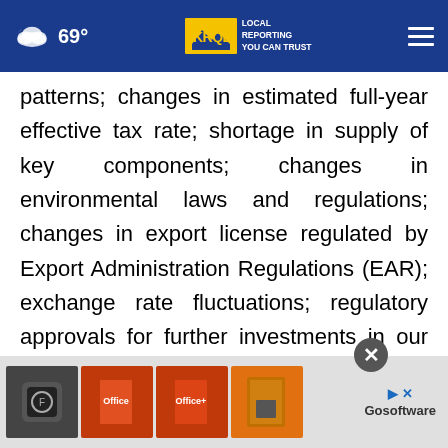69° KRQE LOCAL REPORTING YOU CAN TRUST
patterns; changes in estimated full-year effective tax rate; shortage in supply of key components; changes in environmental laws and regulations; changes in export license regulated by Export Administration Regulations (EAR); exchange rate fluctuations; regulatory approvals for further investments in our subsidiaries; our ability to collect accounts receivable and manage inventory and other risks including information as to the Company's risks
[Figure (other): Advertisement overlay for Gosoftware showing Microsoft Office product boxes with a close button]